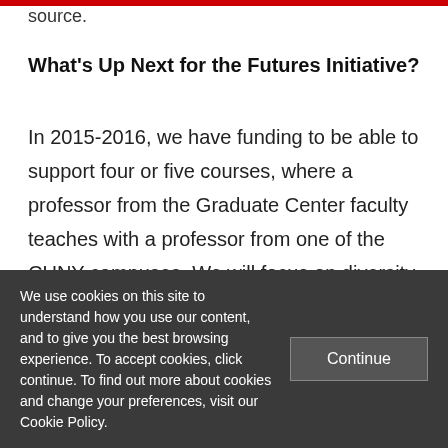source.
What's Up Next for the Futures Initiative?
In 2015-2016, we have funding to be able to support four or five courses, where a professor from the Graduate Center faculty teaches with a professor from one of the CUNY campuses. We will focus on diversity and equity, on underrepresented groups, scholars of color, and research on diversity. If
We use cookies on this site to understand how you use our content, and to give you the best browsing experience. To accept cookies, click continue. To find out more about cookies and change your preferences, visit our Cookie Policy.